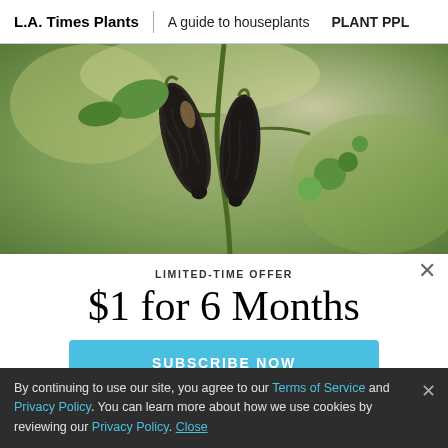L.A. Times Plants | A guide to houseplants | PLANT PPL
[Figure (photo): Close-up photo of two dark elongated seed pods or fruit hanging from a green plant stem with small round green buds, against a blurred green background.]
LIMITED-TIME OFFER
$1 for 6 Months
SUBSCRIBE NOW
By continuing to use our site, you agree to our Terms of Service and Privacy Policy. You can learn more about how we use cookies by reviewing our Privacy Policy. Close